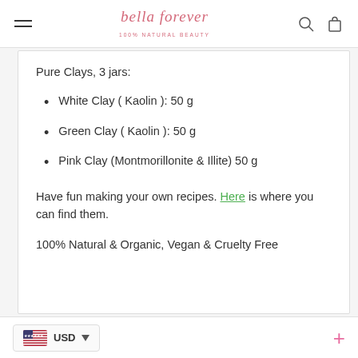bella forever — 100% natural beauty
Pure Clays, 3 jars:
White Clay ( Kaolin ): 50 g
Green Clay ( Kaolin ): 50 g
Pink Clay (Montmorillonite & Illite) 50 g
Have fun making your own recipes. Here is where you can find them.
100% Natural & Organic, Vegan & Cruelty Free
USD